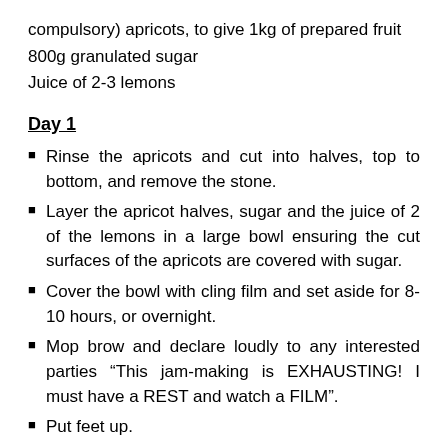compulsory) apricots, to give 1kg of prepared fruit
800g granulated sugar
Juice of 2-3 lemons
Day 1
Rinse the apricots and cut into halves, top to bottom, and remove the stone.
Layer the apricot halves, sugar and the juice of 2 of the lemons in a large bowl ensuring the cut surfaces of the apricots are covered with sugar.
Cover the bowl with cling film and set aside for 8-10 hours, or overnight.
Mop brow and declare loudly to any interested parties “This jam-making is EXHAUSTING! I must have a REST and watch a FILM”.
Put feet up.